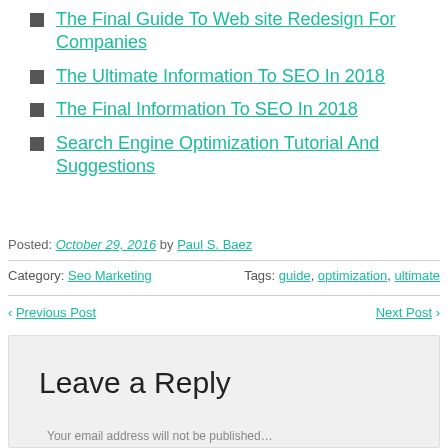The Final Guide To Web site Redesign For Companies
The Ultimate Information To SEO In 2018
The Final Information To SEO In 2018
Search Engine Optimization Tutorial And Suggestions
Posted: October 29, 2016 by Paul S. Baez
Category: Seo Marketing   Tags: guide, optimization, ultimate
◄ Previous Post   Next Post ►
Leave a Reply